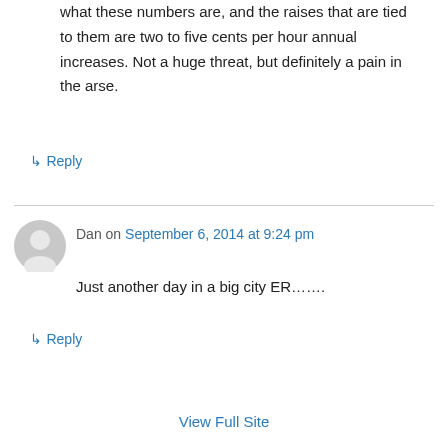what these numbers are, and the raises that are tied to them are two to five cents per hour annual increases. Not a huge threat, but definitely a pain in the arse.
↳ Reply
Dan on September 6, 2014 at 9:24 pm
Just another day in a big city ER…….
↳ Reply
View Full Site